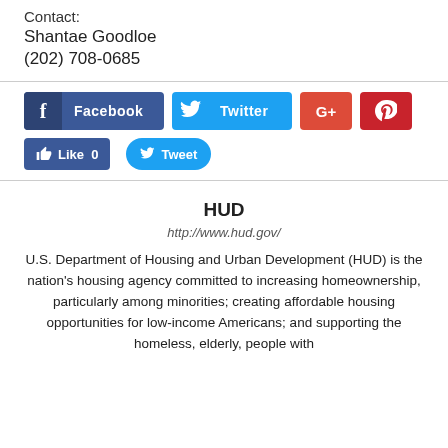Contact:
Shantae Goodloe
(202) 708-0685
[Figure (infographic): Social media sharing buttons: Facebook, Twitter, Google+, Pinterest, Like 0, Tweet]
HUD
http://www.hud.gov/
U.S. Department of Housing and Urban Development (HUD) is the nation's housing agency committed to increasing homeownership, particularly among minorities; creating affordable housing opportunities for low-income Americans; and supporting the homeless, elderly, people with